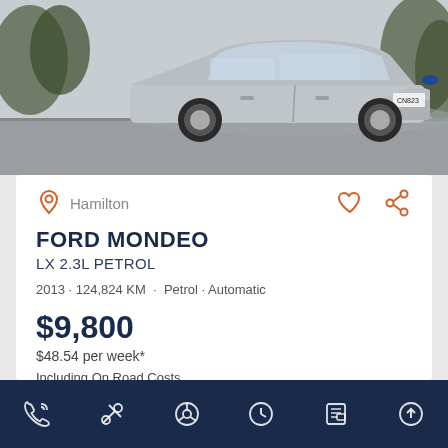[Figure (photo): Silver Ford Mondeo sedan parked on a road, front three-quarter view, license plate CN823]
Hamilton
FORD MONDEO
LX 2.3L PETROL
2013 · 124,824 KM · Petrol · Automatic
$9,800
$48.54 per week*
Including On Road Costs .
Bottom navigation bar with icons: phone, tools, steering wheel, clock, vehicle, upload